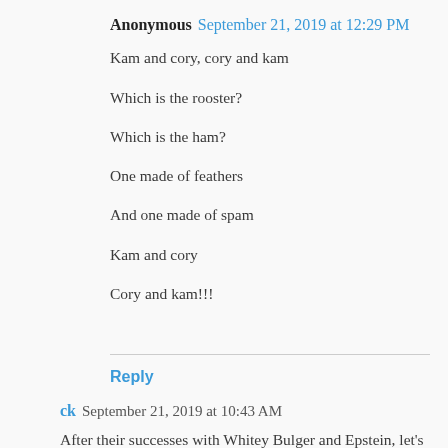Anonymous September 21, 2019 at 12:29 PM
Kam and cory, cory and kam
Which is the rooster?
Which is the ham?
One made of feathers
And one made of spam
Kam and cory
Cory and kam!!!
Reply
ck September 21, 2019 at 10:43 AM
After their successes with Whitey Bulger and Epstein, let's